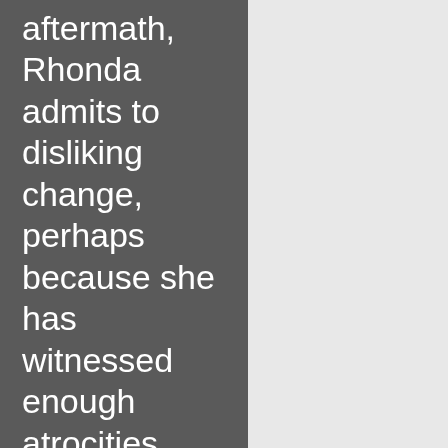aftermath, Rhonda admits to disliking change, perhaps because she has witnessed enough atrocities throughout her own life. But by the end of “The